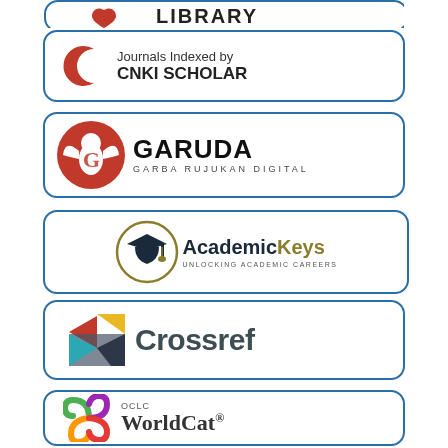[Figure (logo): Partially visible library logo badge at top]
[Figure (logo): CNKI Scholar - Journals Indexed by CNKI SCHOLAR badge with red crescent logo]
[Figure (logo): GARUDA - Garba Rujukan Digital badge with red eagle logo]
[Figure (logo): AcademicKeys - Unlocking Academic Careers badge with mortarboard logo]
[Figure (logo): Crossref badge with colorful arrow logo]
[Figure (logo): OCLC WorldCat badge with colorful swirl logo]